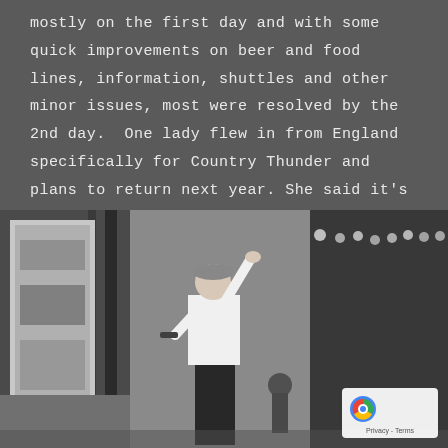mostly on the first day and with some quick improvements on beer and food lines, information, shuttles and other minor issues, most were resolved by the 2nd day.  One lady flew in from England specifically for Country Thunder and plans to return next year. She said it's 'growing pains' and didn't expect it to not have some road bumps.
[Figure (photo): Black and white photo of a performer on stage with one arm raised holding a microphone, wearing a white shirt and dark pants with a cap. Stage backdrop and lighting rigs visible in background.]